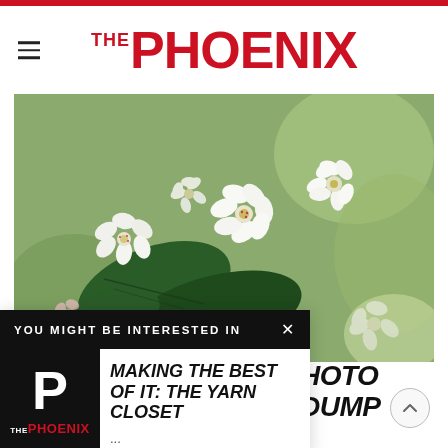THE PHOENIX
[Figure (photo): Close-up photo of white flowers with green leaves, blurred background, nature/botanical subject]
[Figure (screenshot): Popup overlay: 'YOU MIGHT BE INTERESTED IN' with article 'MAKING THE BEST OF IT: THE YARN CLOSET' and The Phoenix logo thumbnail]
HOTO DUMP